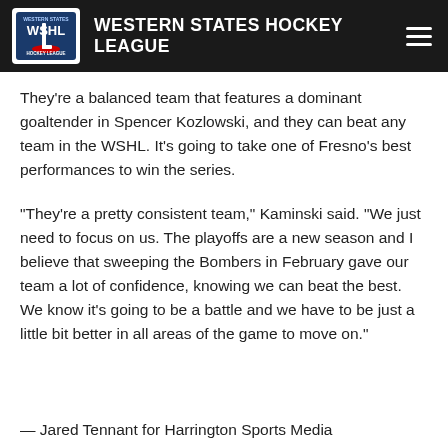WESTERN STATES HOCKEY LEAGUE
They’re a balanced team that features a dominant goaltender in Spencer Kozlowski, and they can beat any team in the WSHL. It’s going to take one of Fresno’s best performances to win the series.
“They’re a pretty consistent team,” Kaminski said. “We just need to focus on us. The playoffs are a new season and I believe that sweeping the Bombers in February gave our team a lot of confidence, knowing we can beat the best. We know it’s going to be a battle and we have to be just a little bit better in all areas of the game to move on.”
— Jared Tennant for Harrington Sports Media